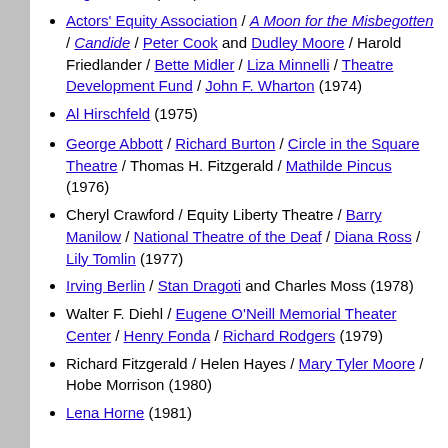Rodgers / The Theatre Guild-American Theatre Society (1972)
The Actors Fund of America / John Lindsay / Shubert Organization (1973)
Actors' Equity Association / A Moon for the Misbegotten / Candide / Peter Cook and Dudley Moore / Harold Friedlander / Bette Midler / Liza Minnelli / Theatre Development Fund / John F. Wharton (1974)
Al Hirschfeld (1975)
George Abbott / Richard Burton / Circle in the Square Theatre / Thomas H. Fitzgerald / Mathilde Pincus (1976)
Cheryl Crawford / Equity Liberty Theatre / Barry Manilow / National Theatre of the Deaf / Diana Ross / Lily Tomlin (1977)
Irving Berlin / Stan Dragoti and Charles Moss (1978)
Walter F. Diehl / Eugene O'Neill Memorial Theater Center / Henry Fonda / Richard Rodgers (1979)
Richard Fitzgerald / Helen Hayes / Mary Tyler Moore / Hobe Morrison (1980)
Lena Horne (1981)